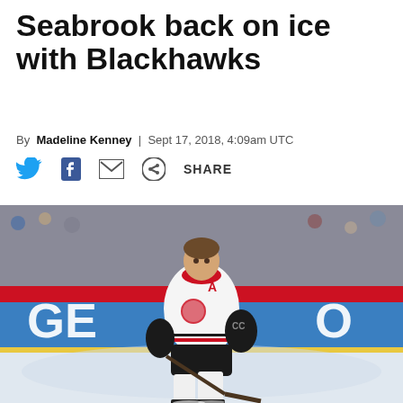Seabrook back on ice with Blackhawks
By Madeline Kenney | Sept 17, 2018, 4:09am UTC
[Figure (other): Social sharing icons: Twitter bird, Facebook f, envelope/email, share icon, and SHARE text]
[Figure (photo): Chicago Blackhawks player Brent Seabrook skating with a hockey stick on ice, wearing white away jersey with red and black accents and Blackhawks logo, in front of a blue GEICO rink board advertisement]